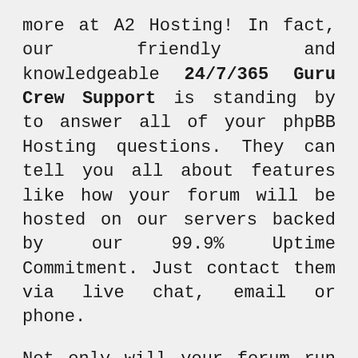more at A2 Hosting! In fact, our friendly and knowledgeable 24/7/365 Guru Crew Support is standing by to answer all of your phpBB Hosting questions. They can tell you all about features like how your forum will be hosted on our servers backed by our 99.9% Uptime Commitment. Just contact them via live chat, email or phone.
Not only will your forum run incredibly fast being hosted on our high speed SwiftServer platform, you'll get your forum up and running unbelievably fast.That's because you can easily setup phpBB with 1-click. Why expect anything less? Choose A2 Hosting